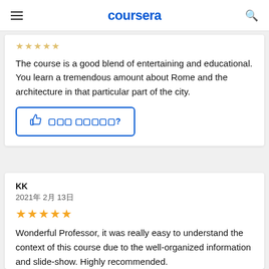coursera
[Figure (other): Partial star rating (crossed out stars) at top of first review card]
The course is a good blend of entertaining and educational. You learn a tremendous amount about Rome and the architecture in that particular part of the city.
[Figure (other): Thumbs up button with text asking if helpful]
KK
2021年 2月 13日
[Figure (other): 5 gold star rating]
Wonderful Professor, it was really easy to understand the context of this course due to the well-organized information and slide-show. Highly recommended.